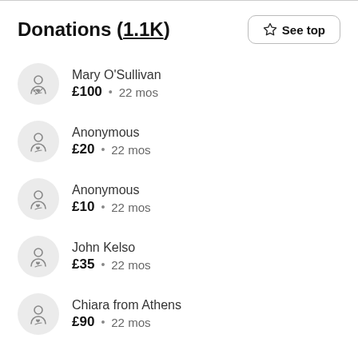Donations (1.1K)
Mary O'Sullivan · £100 · 22 mos
Anonymous · £20 · 22 mos
Anonymous · £10 · 22 mos
John Kelso · £35 · 22 mos
Chiara from Athens · £90 · 22 mos